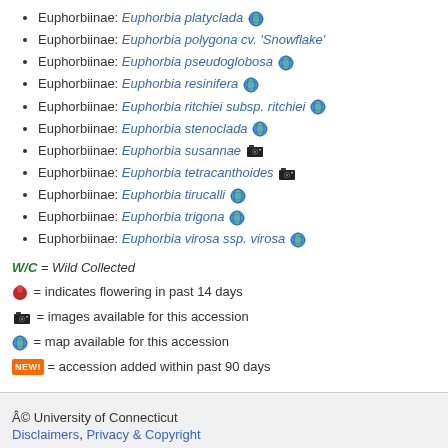Euphorbiinae: Euphorbia platyclada 🌐
Euphorbiinae: Euphorbia polygona cv. 'Snowflake'
Euphorbiinae: Euphorbia pseudoglobosa 🌐
Euphorbiinae: Euphorbia resinifera 🌐
Euphorbiinae: Euphorbia ritchiei subsp. ritchiei 🌐
Euphorbiinae: Euphorbia stenoclada 🌐
Euphorbiinae: Euphorbia susannae 📷
Euphorbiinae: Euphorbia tetracanthoides 📷
Euphorbiinae: Euphorbia tirucalli 🌐
Euphorbiinae: Euphorbia trigona 🌐
Euphorbiinae: Euphorbia virosa ssp. virosa 🌐
W/C = Wild Collected
🌺 = indicates flowering in past 14 days
📷 = images available for this accession
🌐 = map available for this accession
NEW! = accession added within past 90 days
Â© University of Connecticut
Disclaimers, Privacy & Copyright